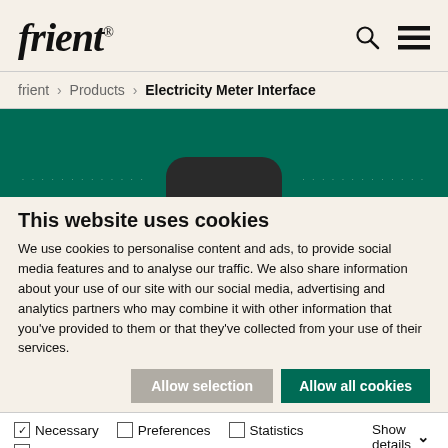frient® [logo with search and hamburger menu icons]
frient › Products › Electricity Meter Interface
[Figure (photo): Dark green banner with a rounded black device at the bottom center, and dotted lines on left and right sides]
This website uses cookies
We use cookies to personalise content and ads, to provide social media features and to analyse our traffic. We also share information about your use of our site with our social media, advertising and analytics partners who may combine it with other information that you've provided to them or that they've collected from your use of their services.
Allow selection | Allow all cookies
☑ Necessary  ☐ Preferences  ☐ Statistics  ☐ Marketing  Show details ∨